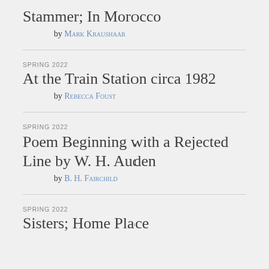Stammer; In Morocco
by Mark Kraushaar
SPRING 2022
At the Train Station circa 1982
by Rebecca Foust
SPRING 2022
Poem Beginning with a Rejected Line by W. H. Auden
by B. H. Fairchild
SPRING 2022
Sisters; Home Place